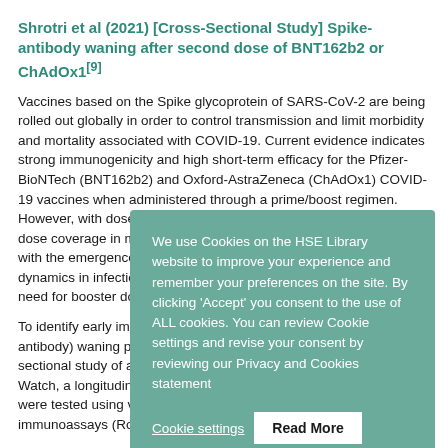Shrotri et al (2021) [Cross-Sectional Study] Spike-antibody waning after second dose of BNT162b2 or ChAdOx1[9]
Vaccines based on the Spike glycoprotein of SARS-CoV-2 are being rolled out globally in order to control transmission and limit morbidity and mortality associated with COVID-19. Current evidence indicates strong immunogenicity and high short-term efficacy for the Pfi... (ChAdOx1) COVID-... through a prime/b... dose intervals lon... first-dose coverag... global incidence a... variants, data on l... dynamics in infect... clarify the need fo...
To identify early i... protein (S-antibod... authors conducted... adults aged ≥18 ye... Virus Watch, a lon... Wales. Sera were ... electro-chemiluminescent immunoassays (Roche Diagnostics,
We use Cookies on the HSE Library website to improve your experience and remember your preferences on the site. By clicking 'Accept' you consent to the use of ALL cookies. You can review Cookie settings and revise your consent by reviewing our Privacy and Cookies statement